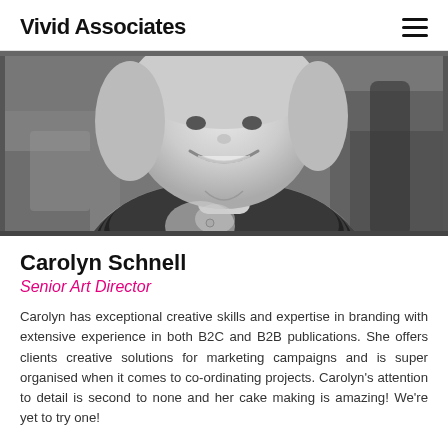Vivid Associates
[Figure (photo): Black and white photograph of Carolyn Schnell, a smiling woman with blonde hair wearing a black and white striped top, photographed from above the shoulders]
Carolyn Schnell
Senior Art Director
Carolyn has exceptional creative skills and expertise in branding with extensive experience in both B2C and B2B publications. She offers clients creative solutions for marketing campaigns and is super organised when it comes to co-ordinating projects. Carolyn's attention to detail is second to none and her cake making is amazing! We're yet to try one!